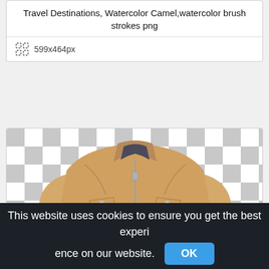Travel Destinations, Watercolor Camel,watercolor brush strokes png
599x464px
[Figure (photo): A camel-colored suede or leather jacket displayed on a transparent (checkerboard) background. The jacket features a stand-up collar, front zip closure, and two chest zip pockets.]
This website uses cookies to ensure you get the best experience on our website.